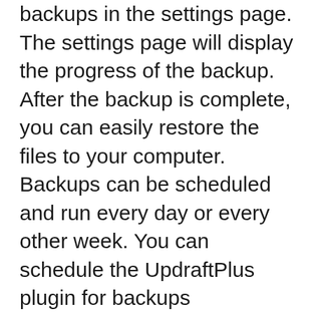backups in the settings page. The settings page will display the progress of the backup. After the backup is complete, you can easily restore the files to your computer. Backups can be scheduled and run every day or every other week. You can schedule the UpdraftPlus plugin for backups automatically or manually.
UpdraftPlus can access every file resource on your site and every row in your database. The accumulated data is then run through a zip file compressor, and the results are written to disk. The amount of resources available to your server will determine how long it takes to backup. A small website shouldn’t take long, but a shared server can take a long time. In the end, though,